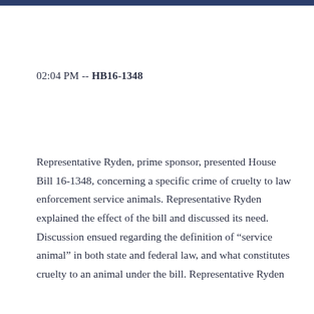02:04 PM -- HB16-1348
Representative Ryden, prime sponsor, presented House Bill 16-1348, concerning a specific crime of cruelty to law enforcement service animals. Representative Ryden explained the effect of the bill and discussed its need. Discussion ensued regarding the definition of “service animal” in both state and federal law, and what constitutes cruelty to an animal under the bill. Representative Ryden